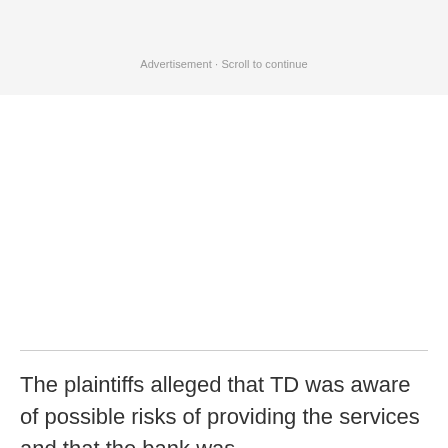Advertisement · Scroll to continue
The plaintiffs alleged that TD was aware of possible risks of providing the services and that the bank was